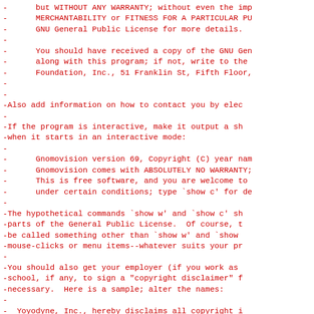- THIS program is distributed in the hope that i
-      but WITHOUT ANY WARRANTY; without even the imp
-      MERCHANTABILITY or FITNESS FOR A PARTICULAR PU
-      GNU General Public License for more details.
-
-      You should have received a copy of the GNU Gen
-      along with this program; if not, write to the
-      Foundation, Inc., 51 Franklin St, Fifth Floor,
-
-
-Also add information on how to contact you by elec
-
-If the program is interactive, make it output a sh
-when it starts in an interactive mode:
-
-      Gnomovision version 69, Copyright (C) year nam
-      Gnomovision comes with ABSOLUTELY NO WARRANTY;
-      This is free software, and you are welcome to
-      under certain conditions; type `show c' for de
-
-The hypothetical commands `show w' and `show c' sh
-parts of the General Public License.  Of course, t
-be called something other than `show w' and `show
-mouse-clicks or menu items--whatever suits your pr
-
-You should also get your employer (if you work as
-school, if any, to sign a "copyright disclaimer" f
-necessary.  Here is a sample; alter the names:
-
-  Yoyodyne, Inc., hereby disclaims all copyright i
-  `Gnomovision' (which makes passes at compilers)